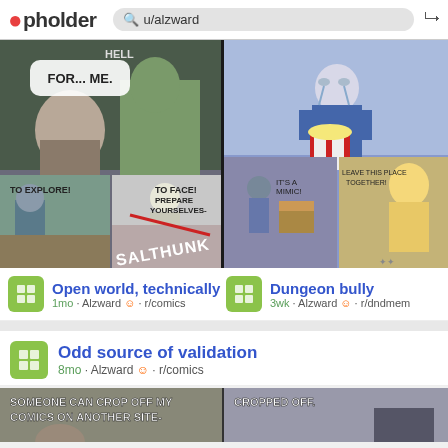pholder  u/alzward
[Figure (screenshot): Two comic strip panels side by side. Left: fantasy comic with speech bubbles 'FOR... ME.', 'HELL', 'TO EXPLORE!', 'TO FACE!', 'PREPARE YOURSELVES-', and a slash effect 'SALTHUNK'. Right: a crying cartoon character holding popcorn, and a dungeon comic with 'IT'S A MIMIC!', 'LEAVE THIS PLACE TOGETHER!' text.]
Open world, technically
1mo · Alzward · r/comics
Dungeon bully
3wk · Alzward · r/dndmem
Odd source of validation
8mo · Alzward · r/comics
[Figure (screenshot): Two partially cropped comic panels at the bottom. Left panel shows text 'SOMEONE CAN CROP OFF MY COMICS ON ANOTHER SITE-'. Right panel shows 'CROPPED OFF.' with a hand holding something.]